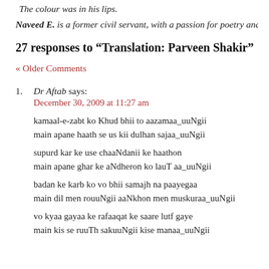The colour was in his lips.
Naveed E. is a former civil servant, with a passion for poetry and w
27 responses to “Translation: Parveen Shakir”
« Older Comments
Dr Aftab says:
December 30, 2009 at 11:27 am

kamaal-e-zabt ko Khud bhii to aazamaa_uuNgii
main apane haath se us kii dulhan sajaa_uuNgii

supurd kar ke use chaaNdanii ke haathon
main apane ghar ke aNdheron ko lauT aa_uuNgii

badan ke karb ko vo bhii samajh na paayegaa
main dil men rouuNgii aaNkhon men muskuraa_uuNgii

vo kyaa gayaa ke rafaaqat ke saare lutf gaye
main kis se ruuTh sakuuNgii kise manaa_uuNgii